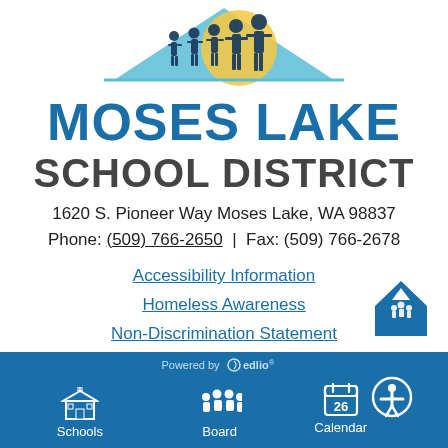[Figure (illustration): School district logo showing silhouettes of people walking/marching with a mountain and yellow/teal background]
MOSES LAKE SCHOOL DISTRICT
1620 S. Pioneer Way Moses Lake, WA 98837
Phone: (509) 766-2650 | Fax: (509) 766-2678
Accessibility Information
Homeless Awareness
Non-Discrimination Statement
[Figure (logo): TOP button with arrow icon in blue diamond shape]
Powered by edlio | Schools | Board | Calendar